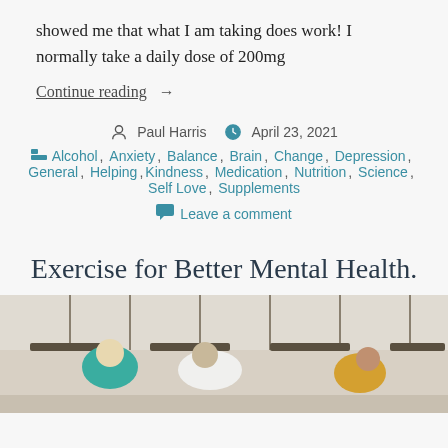showed me that what I am taking does work! I normally take a daily dose of 200mg
Continue reading →
Paul Harris   April 23, 2021
Alcohol, Anxiety, Balance, Brain, Change, Depression, General, Helping, Kindness, Medication, Nutrition, Science, Self Love, Supplements
Leave a comment
Exercise for Better Mental Health.
[Figure (photo): People exercising, bent over a bar or railing in a gym or fitness setting. Multiple people visible in teal, white, and yellow/mustard colored clothing.]